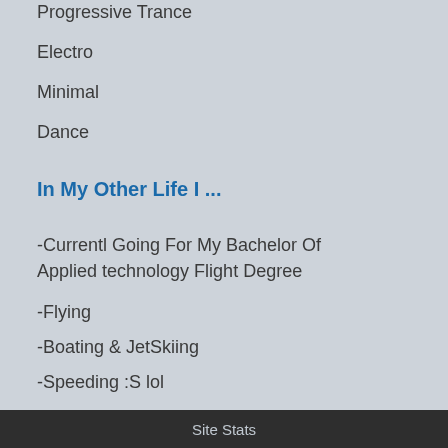Progressive Trance
Electro
Minimal
Dance
In My Other Life I ...
-Currentl Going For My Bachelor Of Applied technology Flight Degree
-Flying
-Boating & JetSkiing
-Speeding :S lol
-Soccer
-The Club
-Making Music/Producing
-DJing
Site Stats